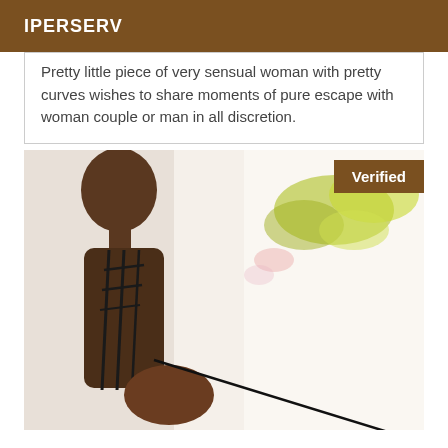IPERSERV
Pretty little piece of very sensual woman with pretty curves wishes to share moments of pure escape with woman couple or man in all discretion.
[Figure (photo): A photo of a woman in a black strappy outfit, taken from behind/side angle, with a bright overexposed outdoor background with greenery. A 'Verified' badge appears in the top right corner.]